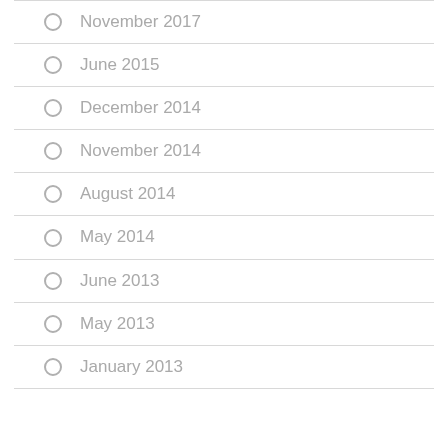November 2017
June 2015
December 2014
November 2014
August 2014
May 2014
June 2013
May 2013
January 2013